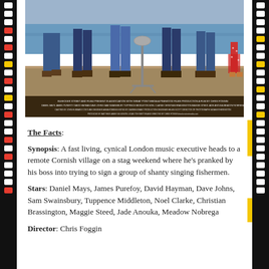[Figure (photo): Movie poster showing people standing from the waist down (legs visible), with a microphone stand in the middle, on a dock or pier with water in the background. Bottom of poster has small white credits text on dark background.]
The Facts:
Synopsis: A fast living, cynical London music executive heads to a remote Cornish village on a stag weekend where he's pranked by his boss into trying to sign a group of shanty singing fishermen.
Stars: Daniel Mays, James Purefoy, David Hayman, Dave Johns, Sam Swainsbury, Tuppence Middleton, Noel Clarke, Christian Brassington, Maggie Steed, Jade Anouka, Meadow Nobrega
Director: Chris Foggin